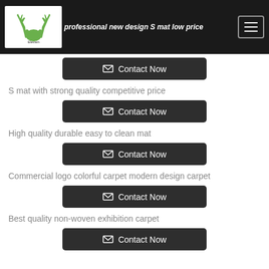Elevain Carpets & Mats — professional new design S mat low price
S mat with strong quality competitive price
High quality durable easy to clean mat
Commercial logo colorful carpet modern design carpet
Best quality non-woven exhibition carpet